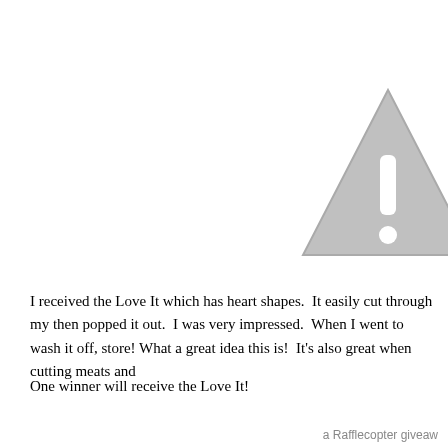[Figure (illustration): Warning triangle icon (grey triangle with white exclamation mark), partially cropped at right edge, in upper right area of page]
I received the Love It which has heart shapes.  It easily cut through my then popped it out.  I was very impressed.  When I went to wash it off, store! What a great idea this is!  It's also great when cutting meats and
One winner will receive the Love It!
a Rafflecopter giveaw